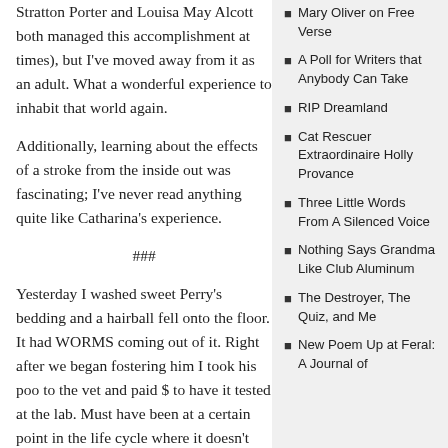Stratton Porter and Louisa May Alcott both managed this accomplishment at times), but I've moved away from it as an adult. What a wonderful experience to inhabit that world again.
Additionally, learning about the effects of a stroke from the inside out was fascinating; I've never read anything quite like Catharina's experience.
###
Yesterday I washed sweet Perry's bedding and a hairball fell onto the floor. It had WORMS coming out of it. Right after we began fostering him I took his poo to the vet and paid $ to have it tested at the lab. Must have been at a certain point in the life cycle where it doesn't show up because this hairball is just jammed with worms. I
Mary Oliver on Free Verse
A Poll for Writers that Anybody Can Take
RIP Dreamland
Cat Rescuer Extraordinaire Holly Provance
Three Little Words From A Silenced Voice
Nothing Says Grandma Like Club Aluminum
The Destroyer, The Quiz, and Me
New Poem Up at Feral: A Journal of